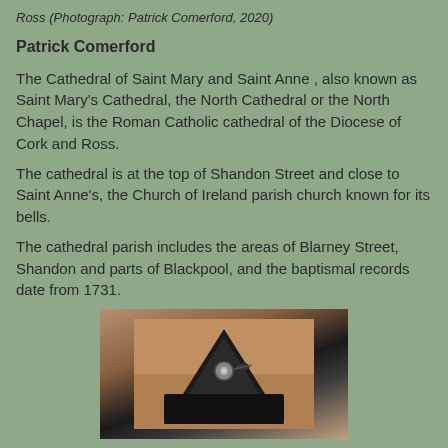Ross (Photograph: Patrick Comerford, 2020)
Patrick Comerford
The Cathedral of Saint Mary and Saint Anne , also known as Saint Mary's Cathedral, the North Cathedral or the North Chapel, is the Roman Catholic cathedral of the Diocese of Cork and Ross.
The cathedral is at the top of Shandon Street and close to Saint Anne's, the Church of Ireland parish church known for its bells.
The cathedral parish includes the areas of Blarney Street, Shandon and parts of Blackpool, and the baptismal records date from 1731.
[Figure (photo): Close-up photograph of a dark metal ring or decorative object with a small circular ornament, set against a warm brown background.]